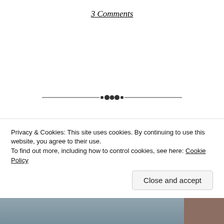3 Comments
[Figure (illustration): Decorative horizontal divider with ornamental diamond/dot motif in the center, flanked by thin lines on each side]
FRINGE & CON | EDINBURGH + LONDON BREAK
Privacy & Cookies: This site uses cookies. By continuing to use this website, you agree to their use.
To find out more, including how to control cookies, see here: Cookie Policy
Close and accept
[Figure (photo): Partial view of a photograph at the bottom of the page, showing a grey sky and dark architectural or street scene, with a brownish-red section on the right edge]